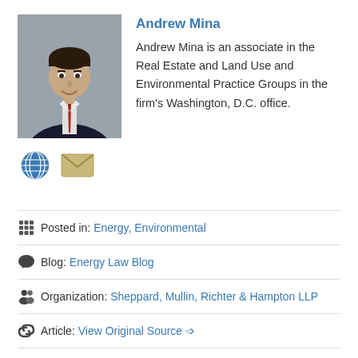[Figure (photo): Professional headshot of Andrew Mina, a man in a dark suit and red tie, smiling, against a grey background.]
Andrew Mina
Andrew Mina is an associate in the Real Estate and Land Use and Environmental Practice Groups in the firm’s Washington, D.C. office.
[Figure (infographic): Two icon buttons: a globe/web icon (blue circle with world map) and an email icon (tan/gold envelope).]
Posted in: Energy, Environmental
Blog: Energy Law Blog
Organization: Sheppard, Mullin, Richter & Hampton LLP
Article: View Original Source ➡